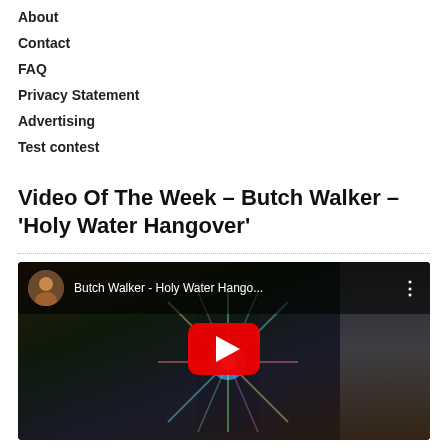About
Contact
FAQ
Privacy Statement
Advertising
Test contest
Video Of The Week – Butch Walker – 'Holy Water Hangover'
[Figure (screenshot): YouTube video embed showing 'Butch Walker - Holy Water Hango...' with a circular avatar thumbnail on the left, the video title in white text, a three-dot menu icon, and a large red YouTube play button centered over a dark colorful background with light burst effects.]